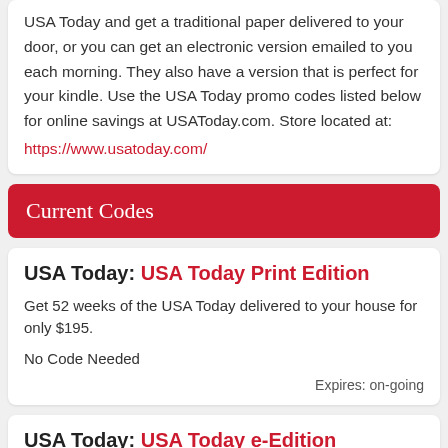USA Today and get a traditional paper delivered to your door, or you can get an electronic version emailed to you each morning. They also have a version that is perfect for your kindle. Use the USA Today promo codes listed below for online savings at USAToday.com. Store located at: https://www.usatoday.com/
Current Codes
USA Today: USA Today Print Edition
Get 52 weeks of the USA Today delivered to your house for only $195.
No Code Needed
Expires: on-going
USA Today: USA Today e-Edition